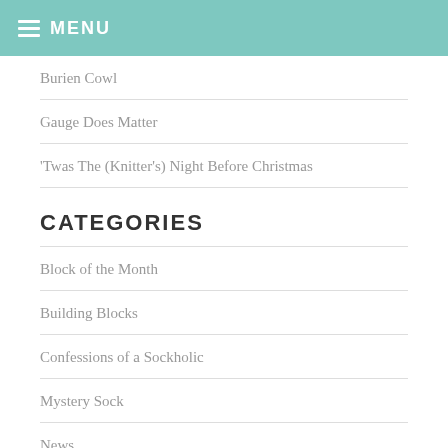MENU
Burien Cowl
Gauge Does Matter
'Twas The (Knitter's) Night Before Christmas
CATEGORIES
Block of the Month
Building Blocks
Confessions of a Sockholic
Mystery Sock
News